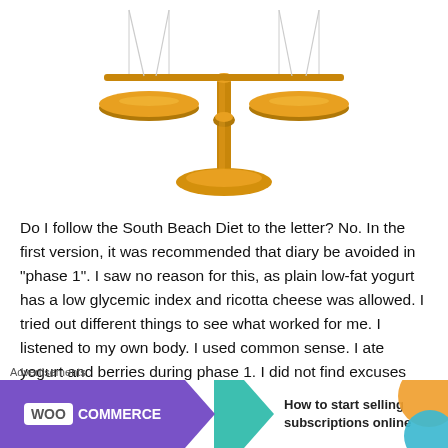[Figure (illustration): Gold balance/justice scales illustration on white background]
Do I follow the South Beach Diet to the letter? No. In the first version, it was recommended that diary be avoided in “phase 1”. I saw no reason for this, as plain low-fat yogurt has a low glycemic index and ricotta cheese was allowed. I tried out different things to see what worked for me. I listened to my own body. I used common sense. I ate yogurt and berries during phase 1. I did not find excuses to eat unhealthy foods. I ate what I knew was good...
[Figure (advertisement): WooCommerce advertisement banner: 'How to start selling subscriptions online']